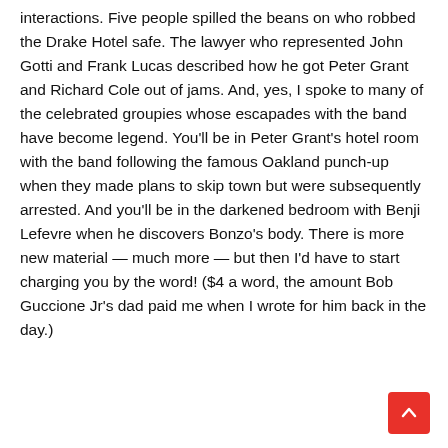interactions. Five people spilled the beans on who robbed the Drake Hotel safe. The lawyer who represented John Gotti and Frank Lucas described how he got Peter Grant and Richard Cole out of jams. And, yes, I spoke to many of the celebrated groupies whose escapades with the band have become legend. You'll be in Peter Grant's hotel room with the band following the famous Oakland punch-up when they made plans to skip town but were subsequently arrested. And you'll be in the darkened bedroom with Benji Lefevre when he discovers Bonzo's body. There is more new material — much more — but then I'd have to start charging you by the word! ($4 a word, the amount Bob Guccione Jr's dad paid me when I wrote for him back in the day.)